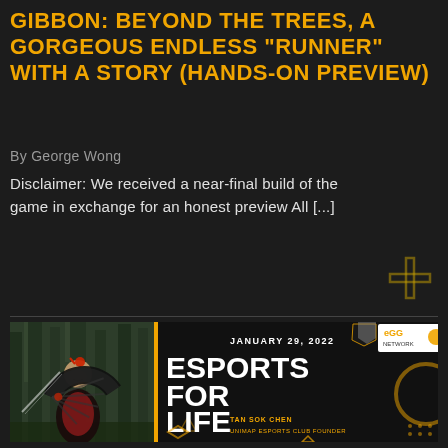GIBBON: BEYOND THE TREES, A GORGEOUS ENDLESS "RUNNER" WITH A STORY (HANDS-ON PREVIEW)
By George Wong
Disclaimer: We received a near-final build of the game in exchange for an honest preview All [...]
READ MORE
[Figure (photo): Promotional card image for 'Esports For Life' event dated January 29, 2022 featuring Tan Sok Chen, UNIMAP Esports Club Founder. Left half shows a woman in traditional Chinese costume holding a decorative fan. Right half shows bold white text 'ESPORTS FOR LIFE' on dark background with orange geometric decorations and eGG Network logo.]